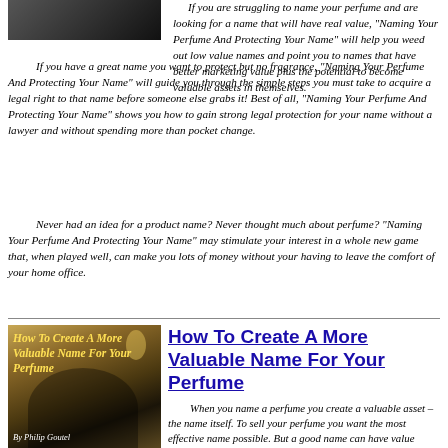[Figure (photo): Partial black and white photo of a person, cropped at top left]
If you are struggling to name your perfume and are looking for a name that will have real value, "Naming Your Perfume And Protecting Your Name" will help you weed out low value names and point you to names that have better marketing value plus the potential to become valuable assets in themselves.
If you have a great name you want to protect but no fragrance, "Naming Your Perfume And Protecting Your Name" will guide you through the simple steps you must take to acquire a legal right to that name before someone else grabs it! Best of all, "Naming Your Perfume And Protecting Your Name" shows you how to gain strong legal protection for your name without a lawyer and without spending more than pocket change.
Never had an idea for a product name? Never thought much about perfume? "Naming Your Perfume And Protecting Your Name" may stimulate your interest in a whole new game that, when played well, can make you lots of money without your having to leave the comfort of your home office.
[Figure (photo): Book cover for 'How To Create A More Valuable Name For Your Perfume' by Philip Goutel, showing a person reading under a lamp with yellow title text overlay]
How To Create A More Valuable Name For Your Perfume
When you name a perfume you create a valuable asset – the name itself. To sell your perfume you want the most effective name possible. But a good name can have value beyond the edge it gives your sales. In naming your fragrance you are creating a trademark and a trademark can have value independent